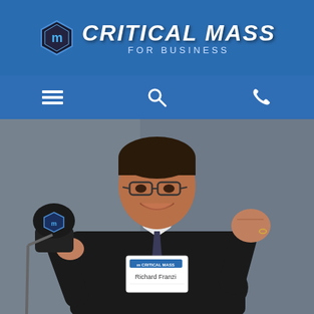[Figure (logo): Critical Mass for Business logo with hexagonal 'm' icon and bold italic text on blue header bar]
[Figure (other): Navigation bar with hamburger menu icon, search icon, and phone icon on blue background]
[Figure (photo): Richard Franzi speaking at a Critical Mass for Business event, wearing a black suit and name badge, holding a microphone branded with Critical Mass logo, raising a fist enthusiastically]